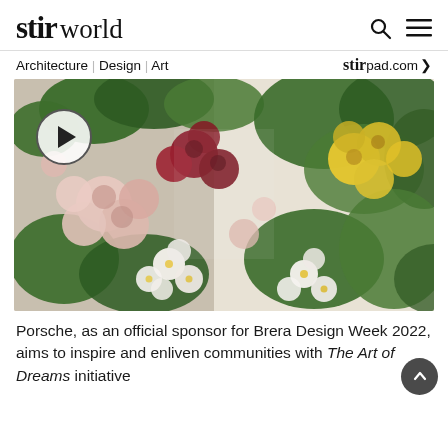stir world — Architecture | Design | Art — stir pad.com
[Figure (photo): Colorful floral arrangement with pink, red, white and yellow roses and blossoms against a light background, with a circular video play button overlay in the upper left]
Porsche, as an official sponsor for Brera Design Week 2022, aims to inspire and enliven communities with The Art of Dreams initiative